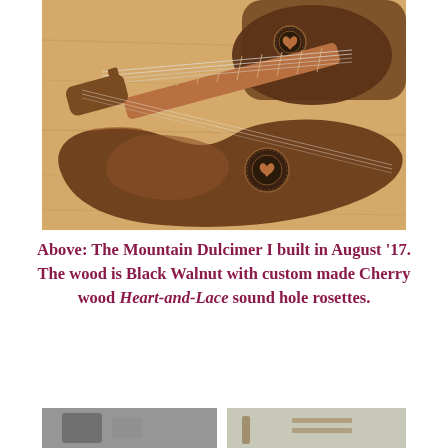[Figure (photo): A Mountain Dulcimer musical instrument photographed on a wooden floor. The dulcimer shows Black Walnut wood body with Cherry wood Heart-and-Lace sound hole rosettes (decorative heart motifs). The instrument has strings running along a fretboard and shows two decorative rosette sound holes.]
Above: The Mountain Dulcimer I built in August '17. The wood is Black Walnut with custom made Cherry wood Heart-and-Lace sound hole rosettes.
[Figure (photo): Partial view of another photo at the bottom of the page, partially cut off.]